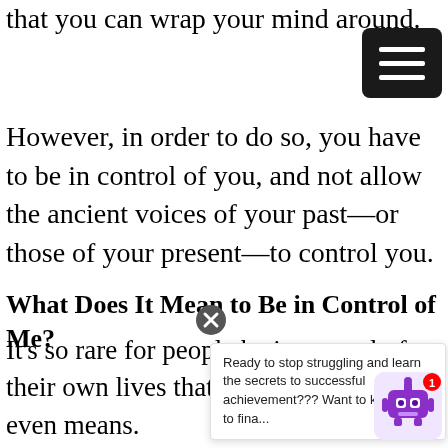that you can wrap your mind around.
However, in order to do so, you have to be in control of you, and not allow the ancient voices of your past—or those of your present—to control you.
What Does It Mean to Be in Control of Me?
It's so rare for people be in control of their own lives that som[e people don't even know wh]at that even means.
Ready to stop struggling and learn the secrets to successful achievement??? Want to know how to fina...